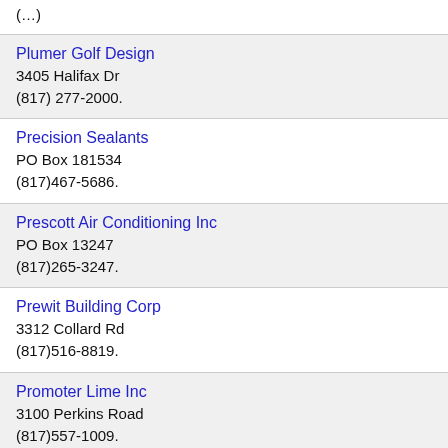Plumer Golf Design
3405 Halifax Dr
(817) 277-2000.
Precision Sealants
PO Box 181534
(817)467-5686.
Prescott Air Conditioning Inc
PO Box 13247
(817)265-3247.
Prewit Building Corp
3312 Collard Rd
(817)516-8819.
Promoter Lime Inc
3100 Perkins Road
(817)557-1009.
Proper T Inspections
1600 Mistletoe Ln
(817) 542-5657.